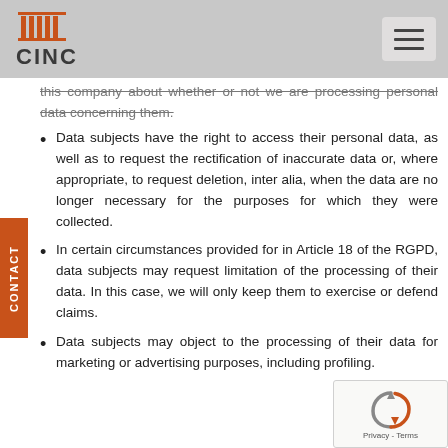CINC
this company about whether or not we are processing personal data concerning them.
Data subjects have the right to access their personal data, as well as to request the rectification of inaccurate data or, where appropriate, to request deletion, inter alia, when the data are no longer necessary for the purposes for which they were collected.
In certain circumstances provided for in Article 18 of the RGPD, data subjects may request limitation of the processing of their data. In this case, we will only keep them to exercise or defend claims.
Data subjects may object to the processing of their data for marketing or advertising purposes, including profiling.